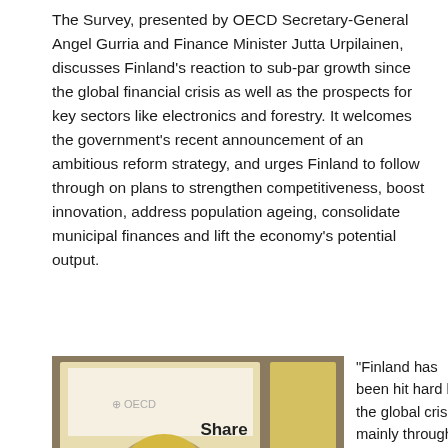The Survey, presented by OECD Secretary-General Angel Gurria and Finance Minister Jutta Urpilainen, discusses Finland's reaction to sub-par growth since the global financial crisis as well as the prospects for key sectors like electronics and forestry. It welcomes the government's recent announcement of an ambitious reform strategy, and urges Finland to follow through on plans to strengthen competitiveness, boost innovation, address population ageing, consolidate municipal finances and lift the economy's potential output.
[Figure (photo): OECD Secretary-General Angel Gurria and Finance Minister Jutta Urpilainen shaking hands and exchanging a book at a presentation event with a screen/slideshow in the background.]
OECD Secretary-General Angel Gurria and Finance Minister
"Finland has been hit hard by the global crisis, mainly through a sharp fall in exports, and the recovery is still hesitant." Mr Gurría said. "Bold action is needed to find new sources of growth, regain competitiveness, ensure sound public finances, and preserve the Finnish welfare model. The
Share